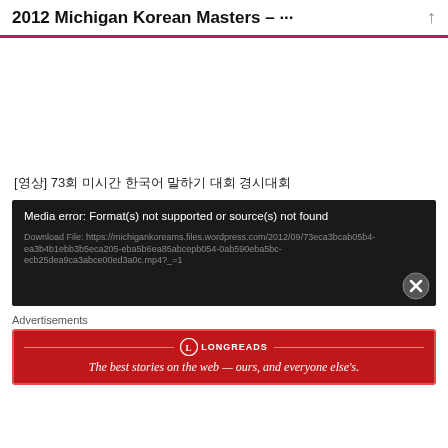2012 Michigan Korean Masters – …
[영상] 73회 미시간 한국어 말하기 대회 경시대회
[Figure (screenshot): Media error box with dark background showing: 'Media error: Format(s) not supported or source(s) not found' and a download file link. A close (X) button is at bottom right.]
Advertisements
[Figure (other): Longreads advertisement banner in red with text: 'The best stories on the web — ours, and everyone else's.']